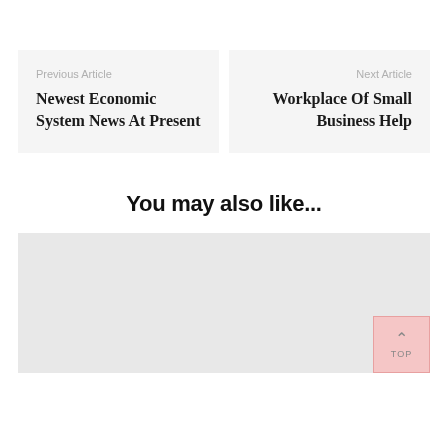Previous Article
Newest Economic System News At Present
Next Article
Workplace Of Small Business Help
You may also like...
[Figure (other): Gray placeholder image area with a pink TOP button in the bottom right corner]